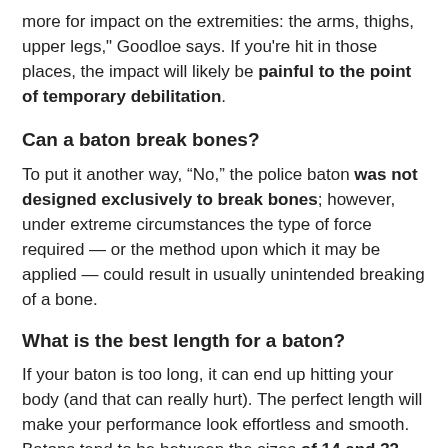more for impact on the extremities: the arms, thighs, upper legs," Goodloe says. If you're hit in those places, the impact will likely be painful to the point of temporary debilitation.
Can a baton break bones?
To put it another way, “No,” the police baton was not designed exclusively to break bones; however, under extreme circumstances the type of force required — or the method upon which it may be applied — could result in usually unintended breaking of a bone.
What is the best length for a baton?
If your baton is too long, it can end up hitting your body (and that can really hurt). The perfect length will make your performance look effortless and smooth. Batons tend to be between the sizes of 14 and 32 inches.